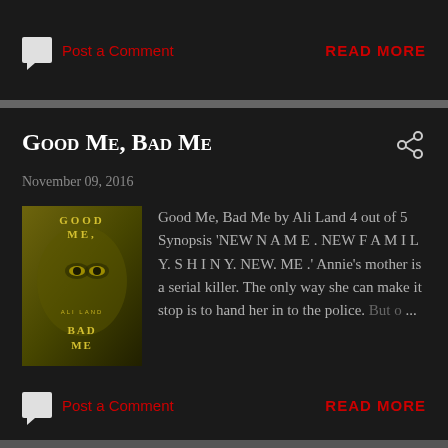Post a Comment
READ MORE
Good Me, Bad Me
November 09, 2016
[Figure (illustration): Book cover of 'Good Me, Bad Me' by Ali Land, dark golden-green tones with text]
Good Me, Bad Me by Ali Land 4 out of 5 Synopsis 'NEW N A M E . NEW F A M I L Y. S H I N Y. NEW. ME .' Annie's mother is a serial killer. The only way she can make it stop is to hand her in to the police. But o... ...
Post a Comment
READ MORE
Viennese Waltz